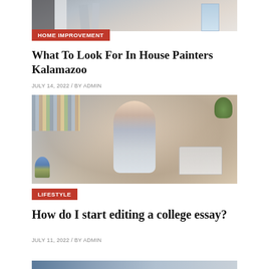[Figure (photo): Partial view of a house painter on a ladder, cropped at top of page]
HOME IMPROVEMENT
What To Look For In House Painters Kalamazoo
JULY 14, 2022 / BY ADMIN
[Figure (photo): Young woman smiling while working on a laptop at a desk, with bookshelves in the background]
LIFESTYLE
How do I start editing a college essay?
JULY 11, 2022 / BY ADMIN
[Figure (photo): Partial view of another article image at the bottom, partially cropped]